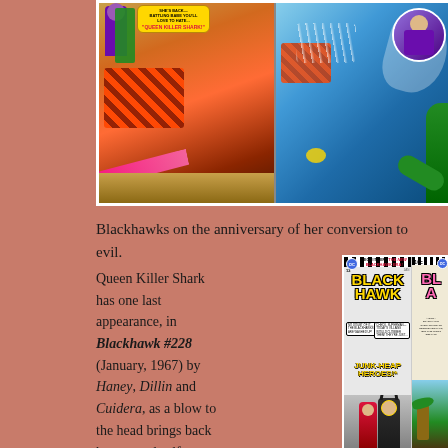[Figure (illustration): Two comic book panels side by side. Left panel shows a villain in purple and green cape commanding orange-suited figures with a pink energy blast. Right panel shows an underwater/action scene with green tentacles, figures in water spray, and a circular inset of a purple-costumed figure.]
Blackhawks on the anniversary of her conversion to evil.
Queen Killer Shark has one last appearance, in Blackhawk #228 (January, 1967) by Haney, Dillin and Cuidera, as a blow to the head brings back her normal self as
[Figure (illustration): Two comic book covers. Left: Blackhawk #228 with checkerboard banner reading 'Begin it here THE NEW BLACKHAWK ERA!', large yellow BLACKHAWK title, speech bubbles reading 'No doubt of it, the Blackhawks are washed up!' and 'Check, Superman—today's villains would clobber them! They're just... JUNK-HEAP HEROES!' with Batman, a red-costumed hero, and other figures. Right: Partial view of another Blackhawk comic with 10c price and text about a girl trying to rescue Blackhawk.]